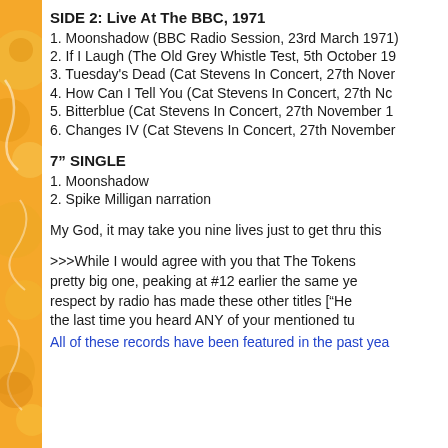SIDE 2: Live At The BBC, 1971
1. Moonshadow (BBC Radio Session, 23rd March 1971)
2. If I Laugh (The Old Grey Whistle Test, 5th October 19…
3. Tuesday's Dead (Cat Stevens In Concert, 27th Nover…
4. How Can I Tell You (Cat Stevens In Concert, 27th Nc…
5. Bitterblue (Cat Stevens In Concert, 27th November 1…
6. Changes IV (Cat Stevens In Concert, 27th November…
7" SINGLE
1. Moonshadow
2. Spike Milligan narration
My God, it may take you nine lives just to get thru this…
>>>While I would agree with you that The Tokens… pretty big one, peaking at #12 earlier the same ye… respect by radio has made these other titles ["He… the last time you heard ANY of your mentioned tu…
All of these records have been featured in the past yea…